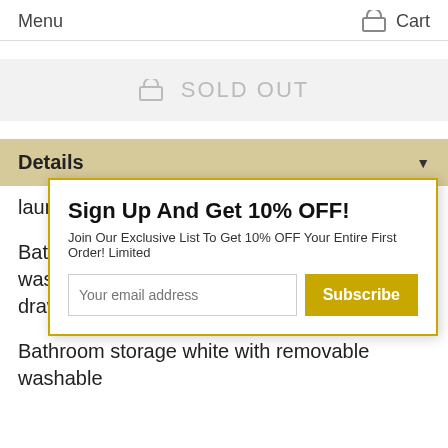Menu   Cart
SOLD OUT
Details ▼
Sign Up And Get 10% OFF!
Join Our Exclusive List To Get 10% OFF Your Entire First Order! Limited
Your email address   Subscribe
laundry basket and two white drawers
Bathroom storage white with removable washable laundry basket and two fushia drawers
Bathroom storage white with removable washable